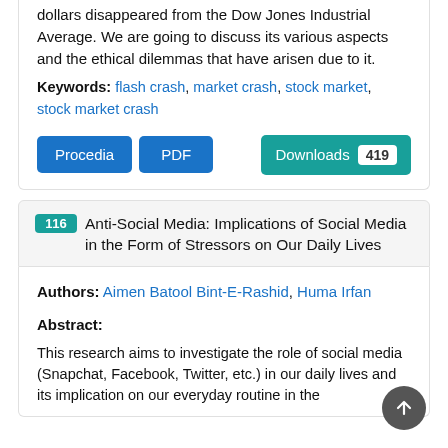dollars disappeared from the Dow Jones Industrial Average. We are going to discuss its various aspects and the ethical dilemmas that have arisen due to it.
Keywords: flash crash, market crash, stock market, stock market crash
116 Anti-Social Media: Implications of Social Media in the Form of Stressors on Our Daily Lives
Authors: Aimen Batool Bint-E-Rashid, Huma Irfan
Abstract:
This research aims to investigate the role of social media (Snapchat, Facebook, Twitter, etc.) in our daily lives and its implication on our everyday routine in the